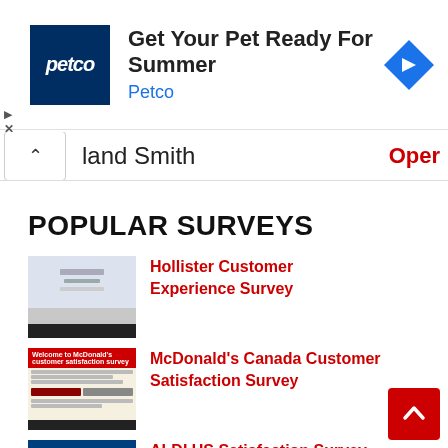[Figure (screenshot): Petco advertisement banner: Petco logo (white text on dark blue), heading 'Get Your Pet Ready For Summer', subtext 'Petco' in blue, and a blue diamond navigation icon on the right.]
[Figure (screenshot): Partially visible row showing 'land Smith' text in grey and 'Oper' in red, with a caret/chevron up button on the left.]
POPULAR SURVEYS
[Figure (screenshot): Thumbnail of Hollister Customer Experience Survey website]
Hollister Customer Experience Survey
[Figure (screenshot): Thumbnail of McDonald's Canada Customer Satisfaction Survey website showing 'Welcome to McDonald's customer satisfaction survey' header]
McDonald's Canada Customer Satisfaction Survey
[Figure (screenshot): Thumbnail of ALDI US Satisfaction Survey website]
ALDI US Satisfaction Survey